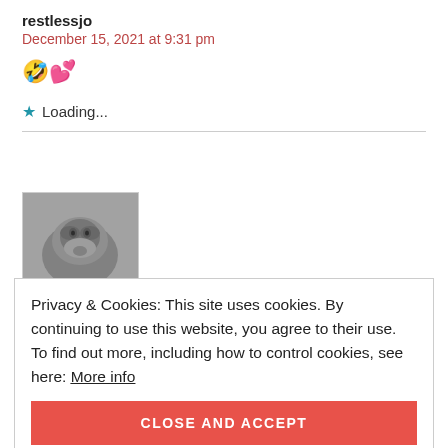restlessjo
December 15, 2021 at 9:31 pm
🤣💕
★ Loading...
[Figure (photo): Grayscale photo of a dog or animal looking up, avatar thumbnail]
Privacy & Cookies: This site uses cookies. By continuing to use this website, you agree to their use. To find out more, including how to control cookies, see here: More info
CLOSE AND ACCEPT